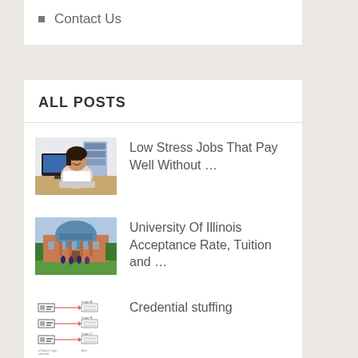Contact Us
ALL POSTS
[Figure (photo): Woman in white shirt sitting at a desk with a computer, smiling]
Low Stress Jobs That Pay Well Without …
[Figure (photo): University building with a large dome, green lawn with students in front]
University Of Illinois Acceptance Rate, Tuition and …
[Figure (schematic): Credential stuffing diagram showing stolen login credentials and bots]
Credential stuffing